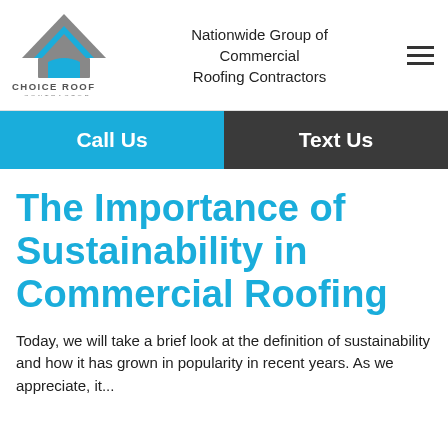[Figure (logo): Choice Roof Contractor Group logo — house/roof shape in grey and blue with company name below]
Nationwide Group of Commercial Roofing Contractors
Call Us
Text Us
The Importance of Sustainability in Commercial Roofing
Today, we will take a brief look at the definition of sustainability and how it has grown in popularity in recent years. As we appreciate, The more we give it...